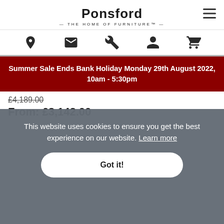[Figure (logo): Ponsford - The Home of Furniture logo with hamburger menu icon]
[Figure (infographic): Navigation icons: location pin, envelope, wrench, person, shopping cart]
Summer Sale Ends Bank Holiday Monday 29th August 2022, 10am - 5:30pm
£4,189.00 (strikethrough original price)
From: £3,142.00
This website uses cookies to ensure you get the best experience on our website. Learn more
Got it!